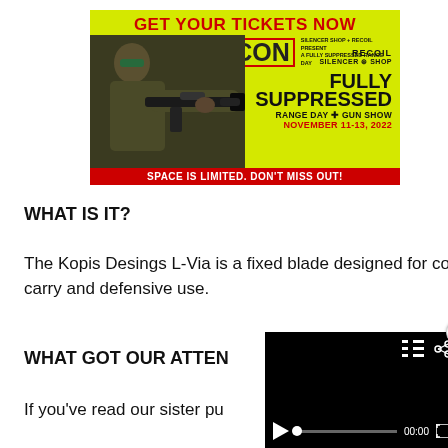[Figure (photo): CANCON advertisement banner: yellow background with man aiming suppressed rifle. Text reads GET YOUR TICKETS NOW, CANCON, SILENCER SHOP + RECOIL PRESENT A FULLY SUPPRESSED RANGE DAY, RECOIL, SILENCER SHOP, FULLY SUPPRESSED RANGE DAY + GUN SHOW, NOVEMBER 11-13, 2022, SPACE IS LIMITED. DON'T MISS OUT!]
WHAT IS IT?
The Kopis Desings L-Via is a fixed blade designed for concealed carry and defensive use.
WHAT GOT OUR ATTEN...
If you've read our sister pu...
[Figure (screenshot): Video player overlay in bottom right: black background with playlist and share icons, play button, progress bar with dot at start, 00:00 timestamp, fullscreen icon. Close button (x) in upper right corner.]